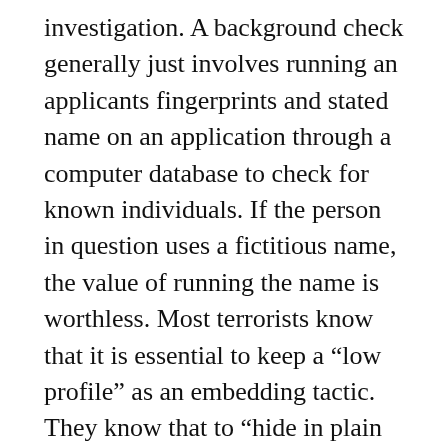investigation. A background check generally just involves running an applicants fingerprints and stated name on an application through a computer database to check for known individuals. If the person in question uses a fictitious name, the value of running the name is worthless. Most terrorists know that it is essential to keep a “low profile” as an embedding tactic. They know that to “hide in plain sight” they must not get arrested or have contact with law enforcement so that if they then apply for a license their fingerprints will come up “clean.”
This is the same issue where a massive amnesty program for millions of illegal aliens